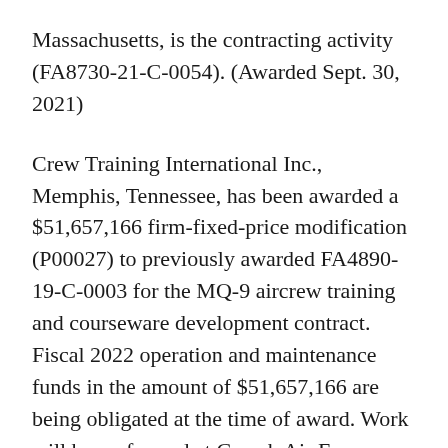Massachusetts, is the contracting activity (FA8730-21-C-0054). (Awarded Sept. 30, 2021)
Crew Training International Inc., Memphis, Tennessee, has been awarded a $51,657,166 firm-fixed-price modification (P00027) to previously awarded FA4890-19-C-0003 for the MQ-9 aircrew training and courseware development contract. Fiscal 2022 operation and maintenance funds in the amount of $51,657,166 are being obligated at the time of award. Work will be performed at Creech Air Force Base, Nevada; Holloman Air Force Base, New Mexico; March Air Reserve Base,